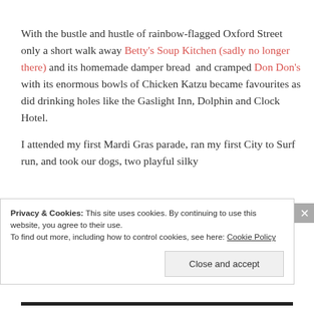With the bustle and hustle of rainbow-flagged Oxford Street only a short walk away Betty's Soup Kitchen (sadly no longer there) and its homemade damper bread  and cramped Don Don's with its enormous bowls of Chicken Katzu became favourites as did drinking holes like the Gaslight Inn, Dolphin and Clock Hotel.
I attended my first Mardi Gras parade, ran my first City to Surf run, and took our dogs, two playful silky
Privacy & Cookies: This site uses cookies. By continuing to use this website, you agree to their use.
To find out more, including how to control cookies, see here: Cookie Policy